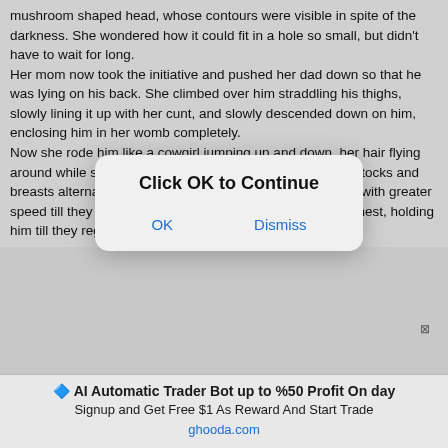mushroom shaped head, whose contours were visible in spite of the darkness. She wondered how it could fit in a hole so small, but didn't have to wait for long. Her mom now took the initiative and pushed her dad down so that he was lying on his back. She climbed over him straddling his thighs, slowly lining it up with her cunt, and slowly descended down on him, enclosing him in her womb completely. Now she rode him like a cowgirl jumping up and down, her hair flying around while she moved up and down. He grabbed her buttocks and breasts alternatively as she pistoned up and down on him, with greater speed till they came together, with her collapsing into his chest, holding him till they regained their breath.
[Figure (screenshot): Modal dialog box with title 'Click OK to Continue' and two buttons: OK and Dismiss]
🔷 AI Automatic Trader Bot up to %50 Profit On day
Signup and Get Free $1 As Reward And Start Trade
ghooda.com